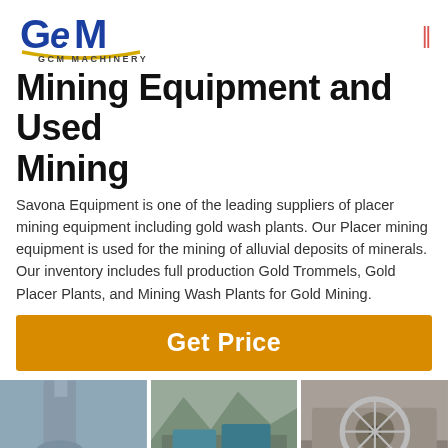GCM Machinery logo and navigation
Mining Equipment and Used Mining
Savona Equipment is one of the leading suppliers of placer mining equipment including gold wash plants. Our Placer mining equipment is used for the mining of alluvial deposits of minerals. Our inventory includes full production Gold Trommels, Gold Placer Plants, and Mining Wash Plants for Gold Mining.
Get Price
[Figure (photo): Three photos of industrial mining equipment/machines with GCM Machinery watermark logos.]